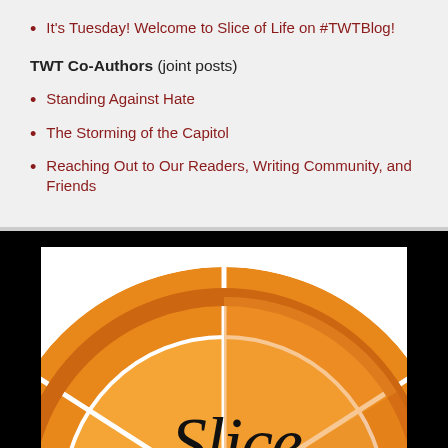It's Tuesday! Welcome to Slice of Life on #TWTBlog!
TWT Co-Authors (joint posts)
Standing Against Hate
The Storming of the Capitol
Reaching Out to Our Readers, Writing Community, and Friends
[Figure (logo): Slice of Life orange citrus slice logo with the word 'Slice' written in black cursive script over an orange circular background divided into wedge sections]